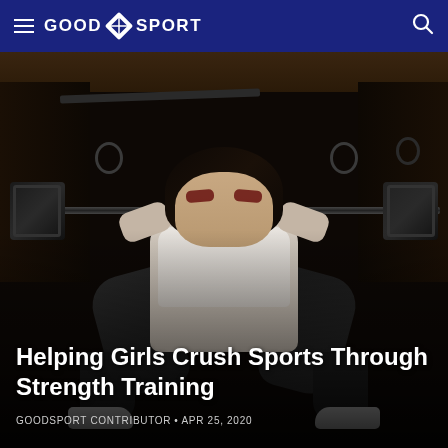GOOD SPORT
[Figure (photo): A woman performing a barbell squat in a dark gym, wearing a white sports bra and grey leggings, with heavy weight plates on the bar and gymnastic rings visible in the background]
Helping Girls Crush Sports Through Strength Training
GOODSPORT CONTRIBUTOR • APR 25, 2020